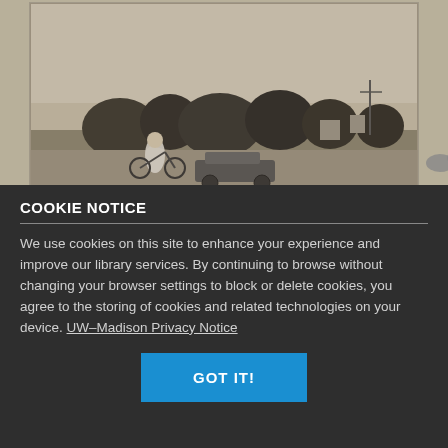[Figure (photo): Black and white / sepia historical photograph showing a person on a bicycle or tricycle on an open field or park, with trees and possibly buildings in the background. An early automobile is visible in the scene. The image has a vintage, early 20th century look.]
COOKIE NOTICE
We use cookies on this site to enhance your experience and improve our library services. By continuing to browse without changing your browser settings to block or delete cookies, you agree to the storing of cookies and related technologies on your device. UW–Madison Privacy Notice
GOT IT!